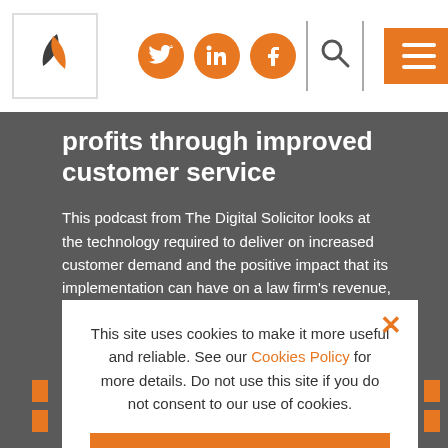[Figure (logo): The Digital Solicitor logo - orange and dark leaf/feather symbol on white background]
[Figure (infographic): Social media icons: Twitter, LinkedIn, Facebook - orange circles with white icons]
profits through improved customer service
This podcast from The Digital Solicitor looks at the technology required to deliver on increased customer demand and the positive impact that its implementation can have on a law firm's revenue, reputation and growth.
This site uses cookies to make it more useful and reliable. See our Cookies Policy for more details. Do not use this site if you do not consent to our use of cookies.
I CONSENT
SEE COOKIE POLICY